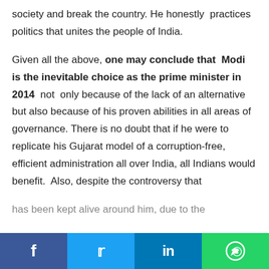society and break the country. He honestly practices politics that unites the people of India.
Given all the above, one may conclude that Modi is the inevitable choice as the prime minister in 2014 not only because of the lack of an alternative but also because of his proven abilities in all areas of governance. There is no doubt that if he were to replicate his Gujarat model of a corruption-free, efficient administration all over India, all Indians would benefit. Also, despite the controversy that has been kept alive around him, due to the
Facebook Twitter LinkedIn WhatsApp